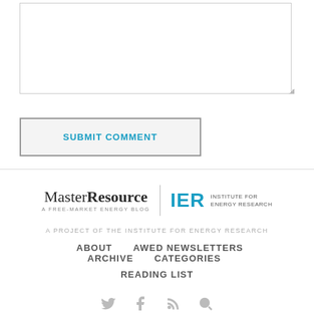[Figure (screenshot): Comment text area input box with resize handle]
SUBMIT COMMENT
[Figure (logo): MasterResource A Free-Market Energy Blog | IER Institute for Energy Research logo]
A PROJECT OF THE INSTITUTE FOR ENERGY RESEARCH
ABOUT   AWED NEWSLETTERS ARCHIVE   CATEGORIES
READING LIST
[Figure (other): Social media icons: Twitter, Facebook, RSS, Search]